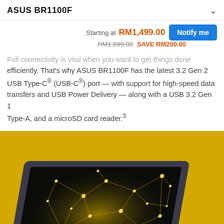ASUS BR1100F
Starting at  RM1,499.00
RM1,699.00  SAVE RM200.00
Notify me
Full connectivity is vital when you want to get things done efficiently. That's why ASUS BR1100F has the latest 3.2 Gen 2 USB Type-C® (USB-C®) port — with support for high-speed data transfers and USB Power Delivery — along with a USB 3.2 Gen 1 Type-A, and a microSD card reader.³
[Figure (photo): ASUS BR1100F laptop shown at an angle on a golden/yellow background, with the screen displaying a glowing network/constellation graphic on a dark background. ASUS logo visible on the bottom bezel.]